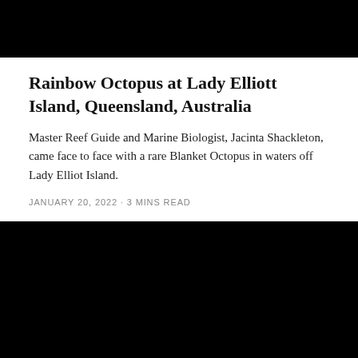[Figure (photo): Black rectangular image at the top of the page, likely a header image or banner (content not visible).]
Rainbow Octopus at Lady Elliott Island, Queensland, Australia
Master Reef Guide and Marine Biologist, Jacinta Shackleton, came face to face with a rare Blanket Octopus in waters off Lady Elliot Island.
JANUARY 20, 2022 · 3 MINS READ
[Figure (photo): Large black rectangular image in the lower portion of the page, likely a photo of the blanket octopus or Lady Elliott Island underwater scene (content not visible).]